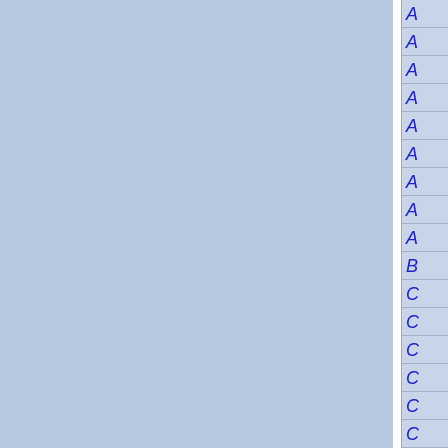[Figure (other): Document index/table of contents sidebar showing alphabetical entries starting with A (multiple), B, C (multiple), partially visible on the right edge of the page. Two large blue-gray panels occupy the left and center of the page, separated by a white divider strip.]
A
A
A
A
A
A
A
A
A
B
C
C
C
C
C
C